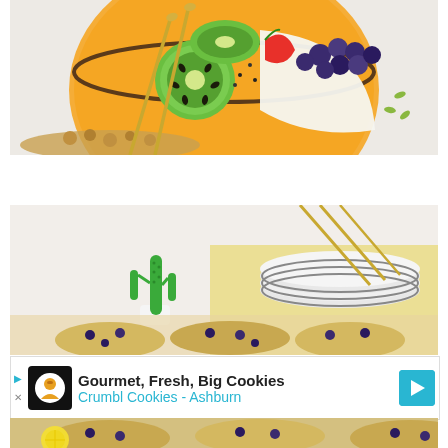[Figure (photo): Overhead shot of a smoothie bowl topped with kiwi slices, strawberry, blueberries, chia seeds, pumpkin seeds, coconut flakes, and granola on a white marble surface with gold spoons.]
Mango Tango Smoothie Bowl
[Figure (photo): Table setting with a green ceramic cactus figurine, stacked white plates with gold utensils on a yellow cloth, and blueberry lemon scones in foreground.]
[Figure (photo): Advertisement banner for Crumbl Cookies - Ashburn: Gourmet, Fresh, Big Cookies]
[Figure (photo): Close-up of blueberry lemon scones with glaze, lemon slices visible.]